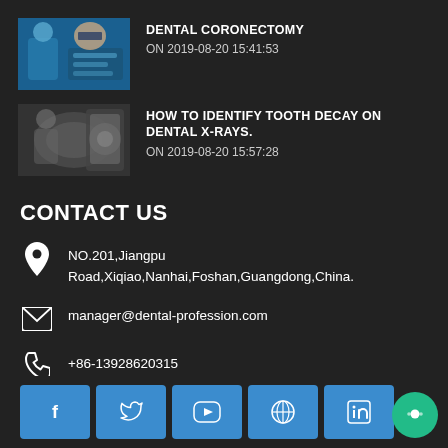[Figure (photo): Thumbnail image of dentist working on patient]
DENTAL CORONECTOMY
ON 2019-08-20 15:41:53
[Figure (photo): Thumbnail image of dental X-ray]
HOW TO IDENTIFY TOOTH DECAY ON DENTAL X-RAYS.
ON 2019-08-20 15:57:28
CONTACT US
NO.201,Jiangpu Road,Xiqiao,Nanhai,Foshan,Guangdong,China.
manager@dental-profession.com
+86-13928620315
[Figure (infographic): Social media buttons: Facebook, Twitter, YouTube, RSS/Wheel, LinkedIn]